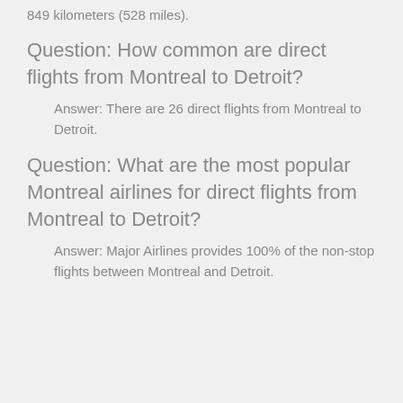849 kilometers (528 miles).
Question: How common are direct flights from Montreal to Detroit?
Answer: There are 26 direct flights from Montreal to Detroit.
Question: What are the most popular Montreal airlines for direct flights from Montreal to Detroit?
Answer: Major Airlines provides 100% of the non-stop flights between Montreal and Detroit.